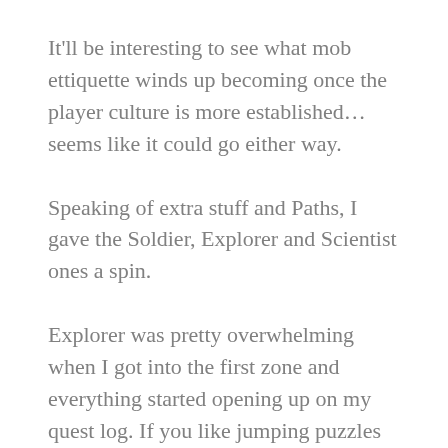It'll be interesting to see what mob ettiquette winds up becoming once the player culture is more established… seems like it could go either way.
Speaking of extra stuff and Paths, I gave the Soldier, Explorer and Scientist ones a spin.
Explorer was pretty overwhelming when I got into the first zone and everything started opening up on my quest log. If you like jumping puzzles and wandering off the beaten path via following directional prompts in a quest log and climbing to high